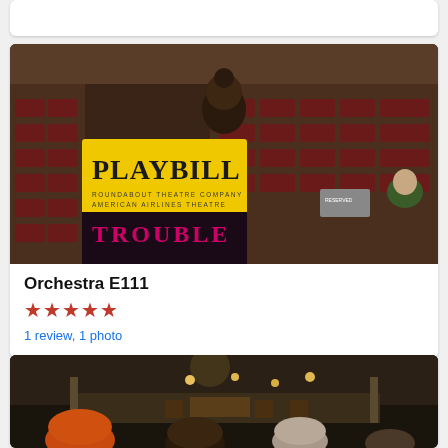[Figure (photo): Top partial card showing white background, partially visible]
[Figure (photo): Photo of a Playbill program for Roundabout Theatre Company American Airlines Theatre, show titled TROUBLE, taken from orchestra seating with dark red theatre seats visible in background]
Orchestra E111
★★★★★
1 review, 1 photo
[Figure (photo): Photo of a theatre stage with set pieces including furniture, lighting instruments, and audience members in foreground, taken from orchestra level]